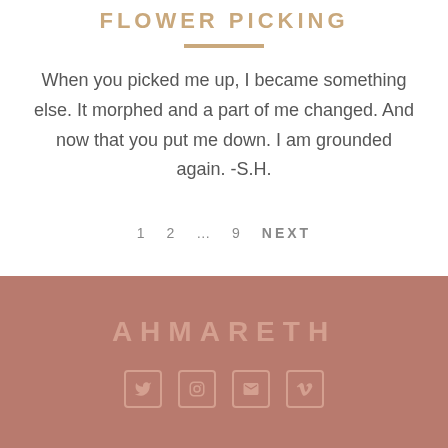FLOWER PICKING
When you picked me up, I became something else. It morphed and a part of me changed. And now that you put me down. I am grounded again. -S.H.
1  2  …  9  NEXT
AHMARETH